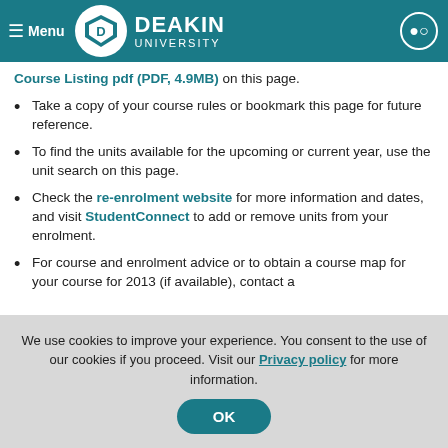[Figure (screenshot): Deakin University navigation bar with hamburger menu, Deakin University logo, and search icon]
Course Listing pdf (PDF, 4.9MB) on this page.
Take a copy of your course rules or bookmark this page for future reference.
To find the units available for the upcoming or current year, use the unit search on this page.
Check the re-enrolment website for more information and dates, and visit StudentConnect to add or remove units from your enrolment.
For course and enrolment advice or to obtain a course map for your course for 2013 (if available), contact a
We use cookies to improve your experience. You consent to the use of our cookies if you proceed. Visit our Privacy policy for more information.